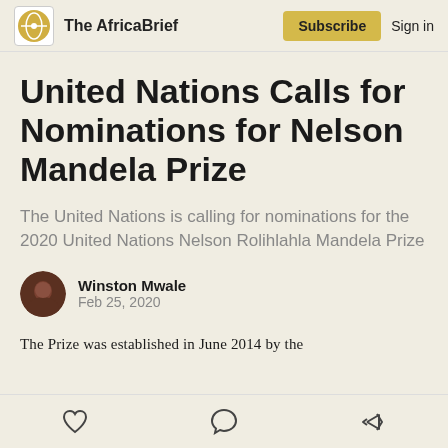The AfricaBrief | Subscribe | Sign in
United Nations Calls for Nominations for Nelson Mandela Prize
The United Nations is calling for nominations for the 2020 United Nations Nelson Rolihlahla Mandela Prize
Winston Mwale
Feb 25, 2020
The Prize was established in June 2014 by the